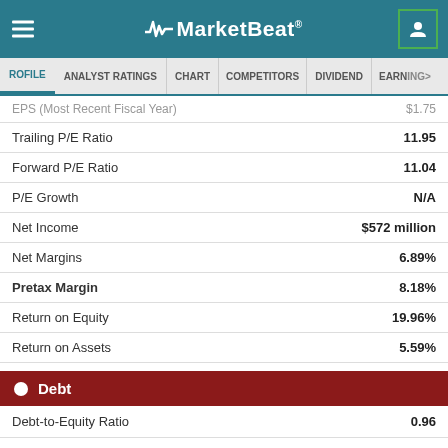MarketBeat
PROFILE | ANALYST RATINGS | CHART | COMPETITORS | DIVIDEND | EARNINGS>
| Metric | Value |
| --- | --- |
| EPS (Most Recent Fiscal Year) | $1.75 |
| Trailing P/E Ratio | 11.95 |
| Forward P/E Ratio | 11.04 |
| P/E Growth | N/A |
| Net Income | $572 million |
| Net Margins | 6.89% |
| Pretax Margin | 8.18% |
| Return on Equity | 19.96% |
| Return on Assets | 5.59% |
Debt
| Metric | Value |
| --- | --- |
| Debt-to-Equity Ratio | 0.96 |
| Current Ratio | 1.03 |
| Quick Ratio | 0.48 |